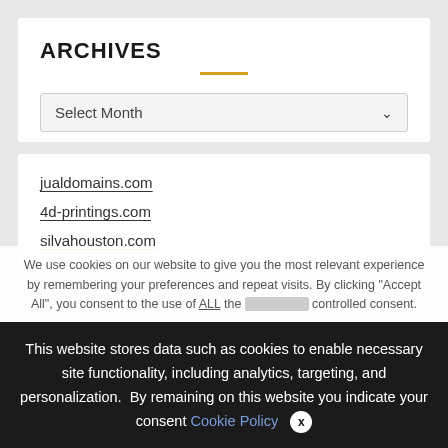ARCHIVES
Select Month
jualdomains.com
4d-printings.com
silvahouston.com
We use cookies on our website to give you the most relevant experience by remembering your preferences and repeat visits. By clicking "Accept All", you consent to the use of ALL the controlled consent.
This website stores data such as cookies to enable necessary site functionality, including analytics, targeting, and personalization. By remaining on this website you indicate your consent Cookie Policy